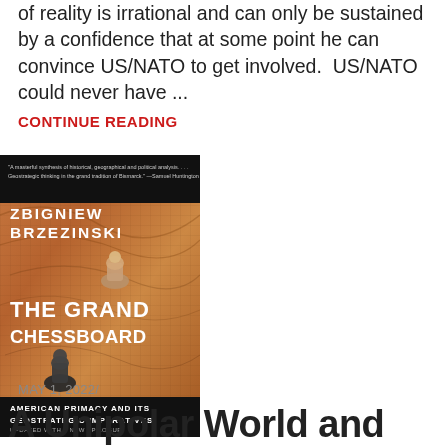of reality is irrational and can only be sustained by a confidence that at some point he can convince US/NATO to get involved.  US/NATO could never have ...
CONTINUE READING
[Figure (photo): Book cover of 'The Grand Chessboard' by Zbigniew Brzezinski — American Primacy and Its Geostrategic Imperatives, Updated with a New Epilogue. Cover shows a textured map background with chess pieces.]
MAY 1, 2022/
A Unipolar World and